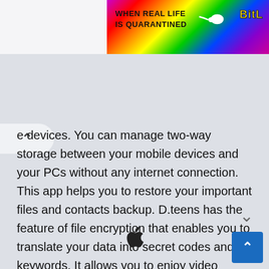[Figure (screenshot): Partial banner advertisement showing rainbow gradient background with text 'WHEN REAL LIFE IS QUARANTINED' and 'BitL' logo on the right side]
e devices. You can manage two-way storage between your mobile devices and your PCs without any internet connection.

This app helps you to restore your important files and contacts backup. D.teens has the feature of file encryption that enables you to translate your data into secret codes and keywords. It allows you to enjoy video streaming through airplay service.
[Figure (illustration): Apple logo (Apple Inc. mark) centered near bottom of page]